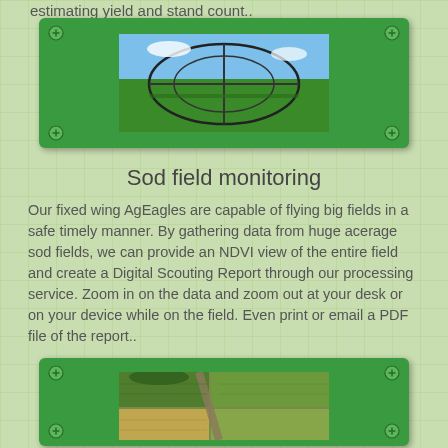estimating yield and stand count..
[Figure (photo): Aerial photo of a green field with center-pivot irrigation equipment, blue sky background]
Sod field monitoring
Our fixed wing AgEagles are capable of flying big fields in a safe timely manner. By gathering data from huge acerage sod fields, we can provide an NDVI view of the entire field and create a Digital Scouting Report through our processing service. Zoom in on the data and zoom out at your desk or on your device while on the field. Even print or email a PDF file of the report..
[Figure (photo): Aerial drone photo looking down at a sod farm field showing rectangular field sections in green and brown]